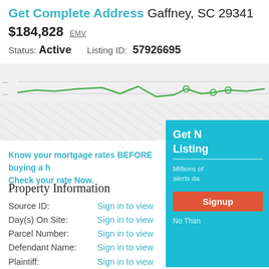Get Complete Address Gaffney, SC 29341
$184,828 EMV
Status: Active   Listing ID: 57926695
[Figure (line-chart): Partial line chart showing green price trend line, partially obscured by hatched blur overlay]
Know your mortgage rates BEFORE buying a home. Check your rate Now.
Property Information
Get N Listing Millions of alerts da Signup No Tha
Source ID: Sign in to view
Day(s) On Site: Sign in to view
Parcel Number: Sign in to view
Defendant Name: Sign in to view
Plaintiff: Sign in to view